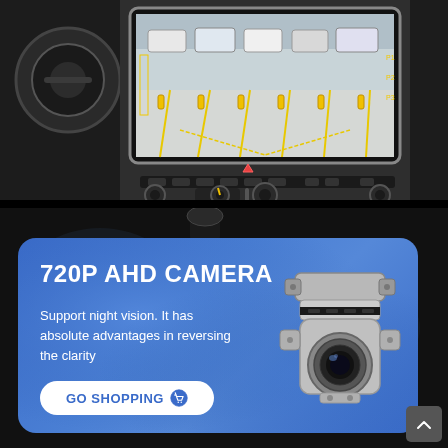[Figure (photo): Car interior dashboard with a large touchscreen displaying a parking camera view showing cars in a parking lot with yellow guide lines. Below the screen are climate control knobs and buttons.]
[Figure (infographic): Blue rounded card on dark background advertising a 720P AHD Camera. Text reads: '720P AHD CAMERA', 'Support night vision. It has absolute advantages in reversing the clarity', with a 'GO SHOPPING' button and an image of a silver backup camera. A scroll-to-top arrow button is in the bottom right corner.]
720P AHD CAMERA
Support night vision. It has absolute advantages in reversing the clarity
GO SHOPPING